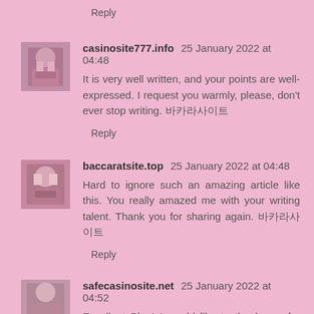Reply
casinosite777.info  25 January 2022 at 04:48
It is very well written, and your points are well-expressed. I request you warmly, please, don't ever stop writing. 바카라사이트
Reply
baccaratsite.top  25 January 2022 at 04:48
Hard to ignore such an amazing article like this. You really amazed me with your writing talent. Thank you for sharing again. 바카라사이트
Reply
safecasinosite.net  25 January 2022 at 04:52
Excellent Blog! I would like to thank you for the efforts you...